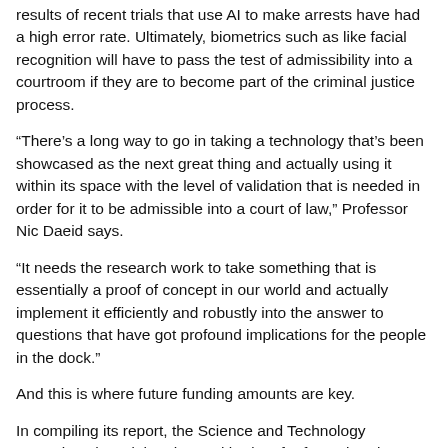results of recent trials that use AI to make arrests have had a high error rate. Ultimately, biometrics such as like facial recognition will have to pass the test of admissibility into a courtroom if they are to become part of the criminal justice process.
“There’s a long way to go in taking a technology that’s been showcased as the next great thing and actually using it within its space with the level of validation that is needed in order for it to be admissible into a court of law,” Professor Nic Daeid says.
“It needs the research work to take something that is essentially a proof of concept in our world and actually implement it efficiently and robustly into the answer to questions that have got profound implications for the people in the dock.”
And this is where future funding amounts are key.
In compiling its report, the Science and Technology Committee heard that the total budget for forensic science services has slipped from around £128 million in 2008 to no more than £55 million last year.